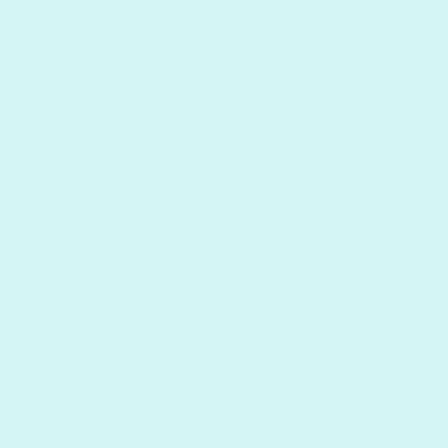of luck (Yes, some just said that, but it was exactly what I wanted to say, so I'm saying it again. Pos
Pos